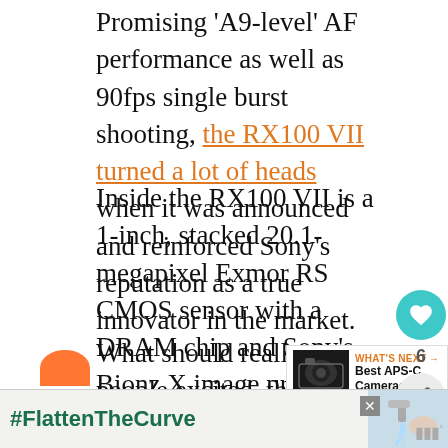Promising 'A9-level' AF performance as well as 90fps single burst shooting, the RX100 VII turned a lot of heads when it was announced and reinforced Sony's reputation as a true innovator in the market.
Inside the RX100 VII is a 1-inch, stacked 20.1-megapixel Exmor RS CMOS sensor with a DRAM chip and Sony's Bionz X image processor. On the outside is a ZEISS Vario-Sonnar T* 24-200mmviii F2.8-4.5.
What should really get people excited, though, is the technology the RX100 VII inherits from Sony's A9. Like the A9 RX100 VII's image sensor realises blackout-free shooting for a completely live view, even
[Figure (photo): Camera thumbnail for 'WHAT'S NEXT' widget showing a DSLR camera]
WHAT'S NEXT → Best APS-C Cameras:...
[Figure (infographic): Advertisement banner with #FlattenTheCurve hashtag showing hands washing with water from a faucet, with a close button and logo]